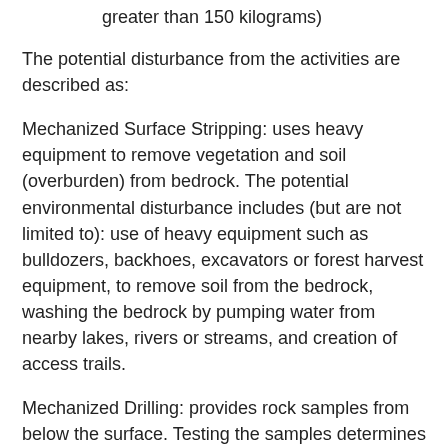greater than 150 kilograms)
The potential disturbance from the activities are described as:
Mechanized Surface Stripping: uses heavy equipment to remove vegetation and soil (overburden) from bedrock. The potential environmental disturbance includes (but are not limited to): use of heavy equipment such as bulldozers, backhoes, excavators or forest harvest equipment, to remove soil from the bedrock, washing the bedrock by pumping water from nearby lakes, rivers or streams, and creation of access trails.
Mechanized Drilling: provides rock samples from below the surface. Testing the samples determines the properties of the soil and rocks, including mineral and metal content. Potential environmental disturbances include (but are not limited to): clearing surface terrain